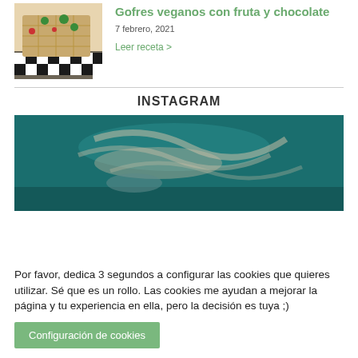[Figure (photo): Photo of vegan waffles with fruit on a checkered surface]
Gofres veganos con fruta y chocolate
7 febrero, 2021
Leer receta >
INSTAGRAM
[Figure (photo): Aerial view of a person swimming in teal water]
Por favor, dedica 3 segundos a configurar las cookies que quieres utilizar. Sé que es un rollo. Las cookies me ayudan a mejorar la página y tu experiencia en ella, pero la decisión es tuya ;)
Configuración de cookies